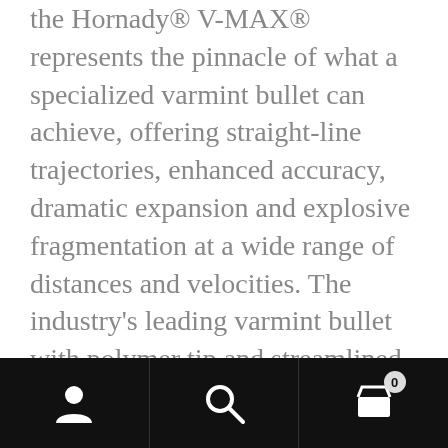the Hornady® V-MAX® represents the pinnacle of what a specialized varmint bullet can achieve, offering straight-line trajectories, enhanced accuracy, dramatic expansion and explosive fragmentation at a wide range of distances and velocities. The industry's leading varmint bullet with polymer tip and streamlined design results in flat trajectories. The concentricity of the match grade AMP® bullet jacket provides maximum accuracy at all ranges as well as explosive expansion, even at velocities as low as 1600 fps.
The secret to the explosive terminal performance of the V-Max® is a
user icon | search icon | cart 0